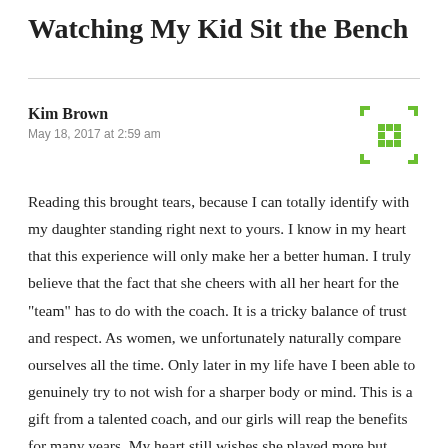Watching My Kid Sit the Bench
Kim Brown
May 18, 2017 at 2:59 am
Reading this brought tears, because I can totally identify with my daughter standing right next to yours. I know in my heart that this experience will only make her a better human. I truly believe that the fact that she cheers with all her heart for the "team" has to do with the coach. It is a tricky balance of trust and respect. As women, we unfortunately naturally compare ourselves all the time. Only later in my life have I been able to genuinely try to not wish for a sharper body or mind. This is a gift from a talented coach, and our girls will reap the benefits for many years. My heart still wishes she played more but…